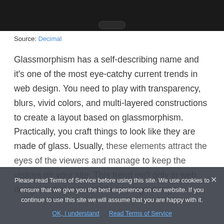[Figure (screenshot): Top portion of a dark background showing what appears to be a phone button/interface element at the bottom]
Source: Decimal
Glassmorphism has a self-describing name and it's one of the most eye-catchy current trends in web design. You need to play with transparency, blurs, vivid colors, and multi-layered constructions to create a layout based on glassmorphism. Practically, you craft things to look like they are made of glass. Usually, these elements attract the eyes of the viewers and manage to keep the visitors on your site. This trend isn't only in web design, but also in mobile and logo design.
Please read Terms of Service before using this site. We use cookies to ensure that we give you the best experience on our website. If you continue to use this site we will assume that you are happy with it.
OK, I understand  Read Terms of Service